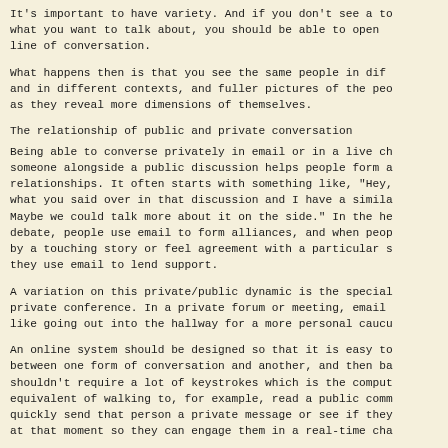It's important to have variety. And if you don't see a topic what you want to talk about, you should be able to open a line of conversation.
What happens then is that you see the same people in different and in different contexts, and fuller pictures of the people as they reveal more dimensions of themselves.
The relationship of public and private conversation
Being able to converse privately in email or in a live chat someone alongside a public discussion helps people form relationships. It often starts with something like, "Hey, what you said over in that discussion and I have a similar Maybe we could talk more about it on the side." In the heat debate, people use email to form alliances, and when people by a touching story or feel agreement with a particular stance they use email to lend support.
A variation on this private/public dynamic is the special private conference. In a private forum or meeting, email like going out into the hallway for a more personal caucus.
An online system should be designed so that it is easy to between one form of conversation and another, and then back. shouldn't require a lot of keystrokes which is the computer equivalent of walking to, for example, read a public comment quickly send that person a private message or see if they at that moment so they can engage them in a real-time chat.
For example, if for some...